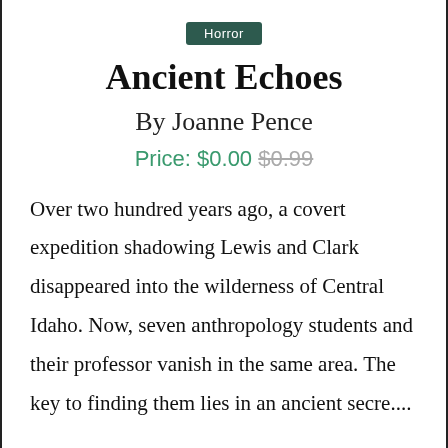Horror
Ancient Echoes
By Joanne Pence
Price: $0.00 $0.99
Over two hundred years ago, a covert expedition shadowing Lewis and Clark disappeared into the wilderness of Central Idaho. Now, seven anthropology students and their professor vanish in the same area. The key to finding them lies in an ancient secre....